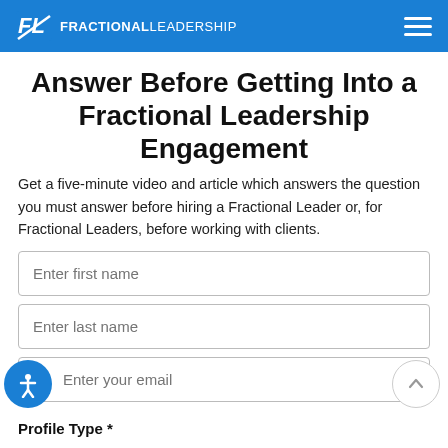FRACTIONAL LEADERSHIP
Answer Before Getting Into a Fractional Leadership Engagement
Get a five-minute video and article which answers the question you must answer before hiring a Fractional Leader or, for Fractional Leaders, before working with clients.
Enter first name
Enter last name
Enter your email
Profile Type *